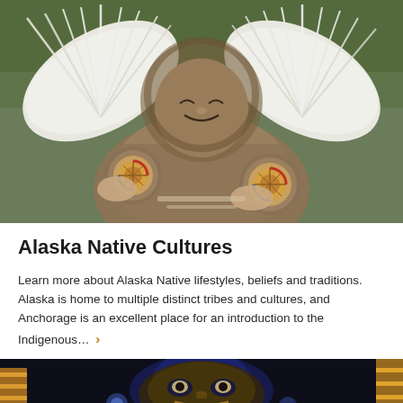[Figure (photo): Alaska Native elder woman in traditional fur parky (coat) with white feather fans, holding two decorative round fans with colorful patterns, smiling at camera]
Alaska Native Cultures
Learn more about Alaska Native lifestyles, beliefs and traditions. Alaska is home to multiple distinct tribes and cultures, and Anchorage is an excellent place for an introduction to the Indigenous… ›
[Figure (photo): Partial view of a carved totem or mask with indigenous design, illuminated against a dark background, with colorful elements visible at the edges]